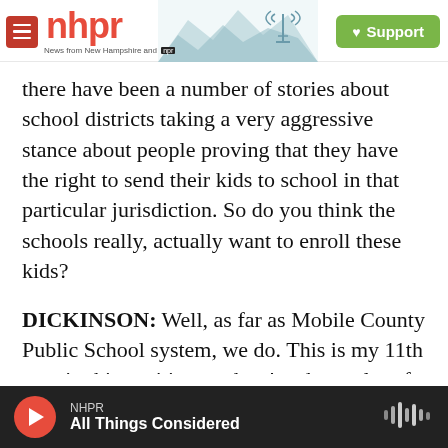nhpr — News from New Hampshire and NPR | Support
there have been a number of stories about school districts taking a very aggressive stance about people proving that they have the right to send their kids to school in that particular jurisdiction. So do you think the schools really, actually want to enroll these kids?
DICKINSON: Well, as far as Mobile County Public School system, we do. This is my 11th year in this position, and we've done a lot of education with our administrators, our counselors, our registrars to educate them on the rights of our homeless students and families. And also, we've tried to
NHPR — All Things Considered